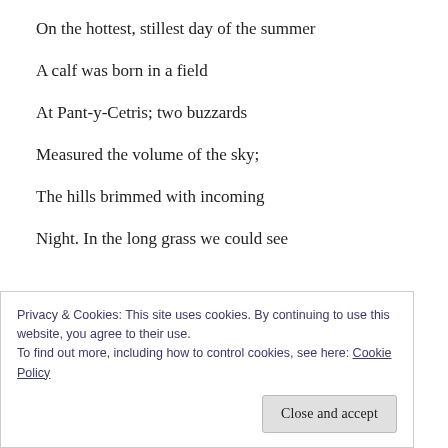On the hottest, stillest day of the summer
A calf was born in a field
At Pant-y-Cetris; two buzzards
Measured the volume of the sky;
The hills brimmed with incoming
Night. In the long grass we could see
Privacy & Cookies: This site uses cookies. By continuing to use this website, you agree to their use.
To find out more, including how to control cookies, see here: Cookie Policy